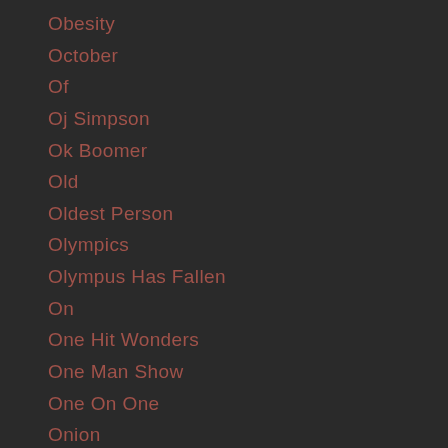Obesity
October
Of
Oj Simpson
Ok Boomer
Old
Oldest Person
Olympics
Olympus Has Fallen
On
One Hit Wonders
One Man Show
One On One
Onion
Onions
Onstl
Opinion
Orb
Oregon
Org
Orlando